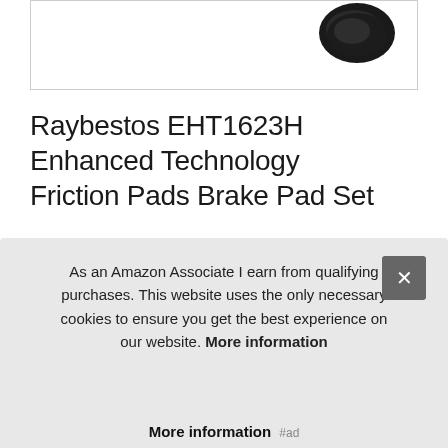[Figure (photo): Partial view of a brake pad product image box with a dark/black brake pad component visible at the top right]
Raybestos EHT1623H Enhanced Technology Friction Pads Brake Pad Set
#ad
Raybestos #ad - Package weight: 1. 928 kilograms. The best attri... of C... w c...
As an Amazon Associate I earn from qualifying purchases. This website uses the only necessary cookies to ensure you get the best experience on our website. More information
More information #ad